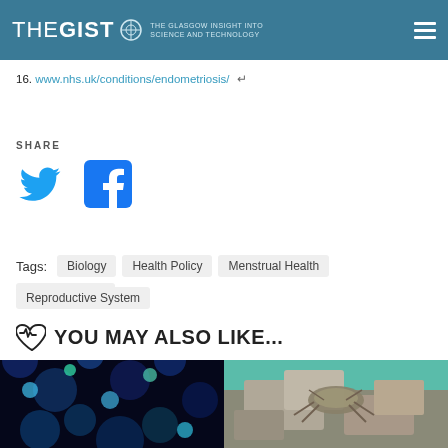THE GIST — THE GLASGOW INSIGHT INTO SCIENCE AND TECHNOLOGY
16. www.nhs.uk/conditions/endometriosis/
SHARE
[Figure (other): Twitter bird icon (blue) and Facebook logo icon (dark blue) for social sharing]
Tags: Biology  Health Policy  Menstrual Health  Period Poverty  Reproductive System
YOU MAY ALSO LIKE...
[Figure (photo): Two side-by-side photos: left shows blue/green bioluminescent bokeh circles on dark background; right shows a crustacean or insect on a rocky surface with teal background]